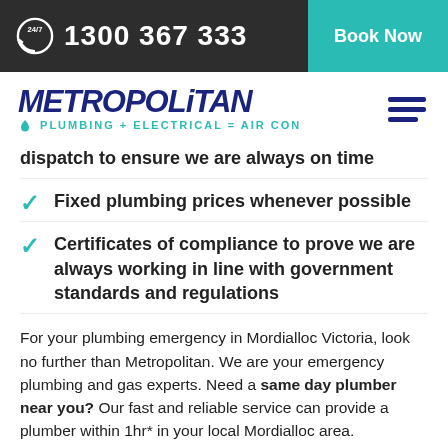24/7  1300 367 333  |  Book Now
[Figure (logo): Metropolitan Plumbing + Electrical = Air Con logo with hamburger menu icon]
dispatch to ensure we are always on time
Fixed plumbing prices whenever possible
Certificates of compliance to prove we are always working in line with government standards and regulations
For your plumbing emergency in Mordialloc Victoria, look no further than Metropolitan. We are your emergency plumbing and gas experts. Need a same day plumber near you? Our fast and reliable service can provide a plumber within 1hr* in your local Mordialloc area.